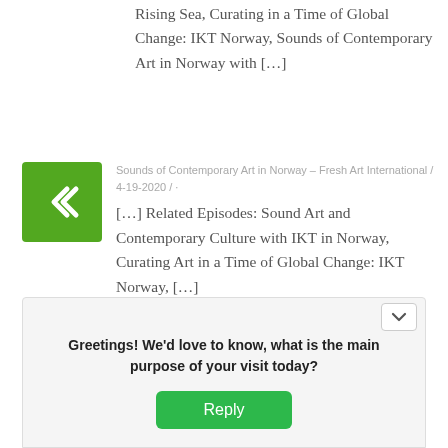Rising Sea, Curating in a Time of Global Change: IKT Norway, Sounds of Contemporary Art in Norway with […]
[Figure (logo): Green square logo with white left-pointing double chevron (<<) symbol inside]
Sounds of Contemporary Art in Norway – Fresh Art International / 4-19-2020 / ·
[…] Related Episodes: Sound Art and Contemporary Culture with IKT in Norway, Curating Art in a Time of Global Change: IKT Norway,  […]
Leave a Reply
Greetings! We'd love to know, what is the main purpose of your visit today?
Reply